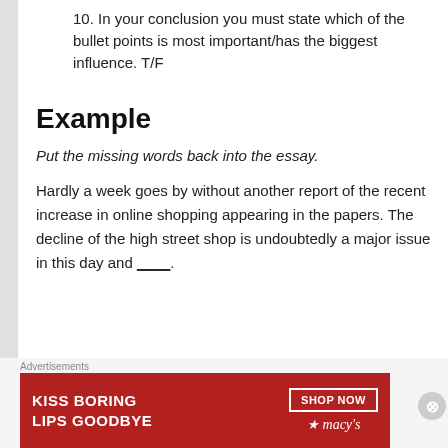10. In your conclusion you must state which of the bullet points is most important/has the biggest influence. T/F
Example
Put the missing words back into the essay.
Hardly a week goes by without another report of the recent increase in online shopping appearing in the papers. The decline of the high street shop is undoubtedly a major issue in this day and ____.
[Figure (infographic): Macy's advertisement banner: red background with 'KISS BORING LIPS GOODBYE' text, woman's face with red lipstick, 'SHOP NOW' button and Macy's logo with star]